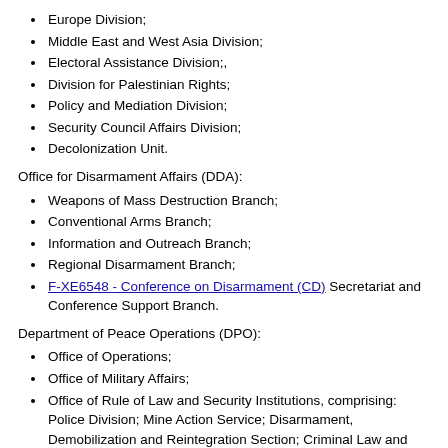Europe Division;
Middle East and West Asia Division;
Electoral Assistance Division;,
Division for Palestinian Rights;
Policy and Mediation Division;
Security Council Affairs Division;
Decolonization Unit.
Office for Disarmament Affairs (DDA):
Weapons of Mass Destruction Branch;
Conventional Arms Branch;
Information and Outreach Branch;
Regional Disarmament Branch;
F-XE6548 - Conference on Disarmament (CD) Secretariat and Conference Support Branch.
Department of Peace Operations (DPO):
Office of Operations;
Office of Military Affairs;
Office of Rule of Law and Security Institutions, comprising: Police Division; Mine Action Service; Disarmament, Demobilization and Reintegration Section; Criminal Law and Judicial Advisory Services - Justice and Corrections; Security Sector Reform Unit;
Policy, Evaluation and Training Division.